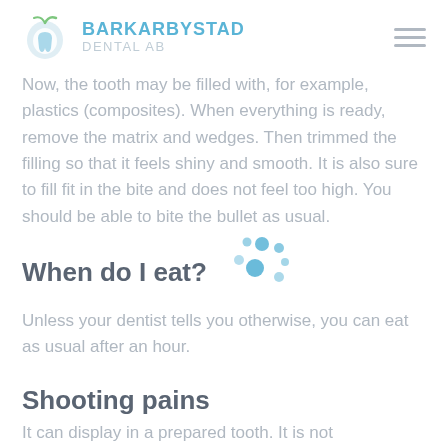BARKARBYSTAD DENTAL AB
Now, the tooth may be filled with, for example, plastics (composites). When everything is ready, remove the matrix and wedges. Then trimmed the filling so that it feels shiny and smooth. It is also sure to fill fit in the bite and does not feel too high. You should be able to bite the bullet as usual.
When do I eat?
Unless your dentist tells you otherwise, you can eat as usual after an hour.
Shooting pains
It can display in a prepared tooth. It is not uncommon, but in general is usually going over. If you would still have feelings in the tooth for some time after the repair has been carried out, please contact the at the Barkarbystad...